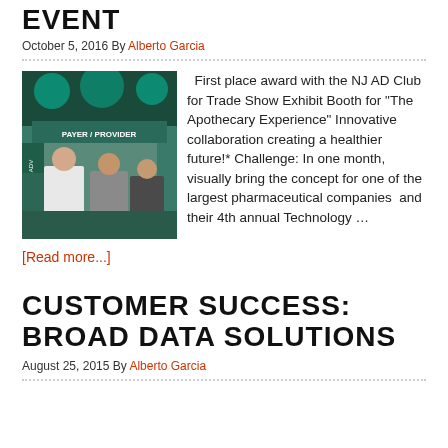EVENT
October 5, 2016 By Alberto Garcia
[Figure (photo): Trade show exhibit booth with people, green lighting, sign reading PAYER / PROVIDER]
First place award with the NJ AD Club for Trade Show Exhibit Booth for “The Apothecary Experience” Innovative collaboration creating a healthier future!* Challenge: In one month, visually bring the concept for one of the largest pharmaceutical companies  and their 4th annual Technology …
[Read more...]
CUSTOMER SUCCESS: BROAD DATA SOLUTIONS
August 25, 2015 By Alberto Garcia